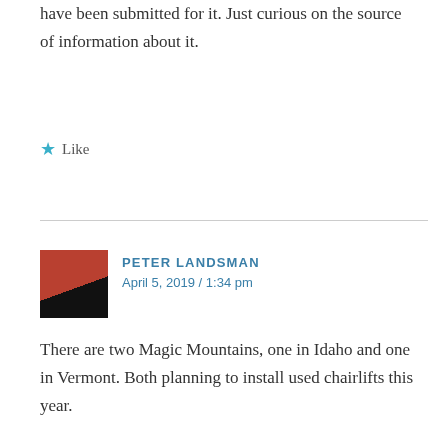have been submitted for it. Just curious on the source of information about it.
Like
PETER LANDSMAN
April 5, 2019 / 1:34 pm
There are two Magic Mountains, one in Idaho and one in Vermont. Both planning to install used chairlifts this year.
Like
DAVID ARCUESO